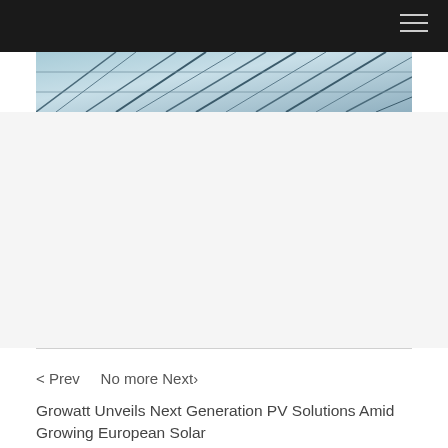[Figure (photo): Horizontal photo strip showing solar panels or structural engineering elements with angular metallic lines against a blue sky, partially visible at the top of the content area.]
< Prev    No more Next»
Growatt Unveils Next Generation PV Solutions Amid Growing European Solar